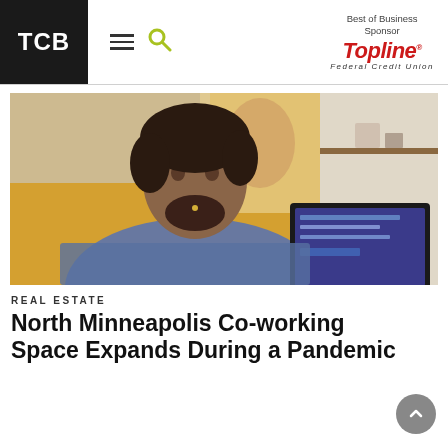TCB | Best of Business Sponsor | TopLine Federal Credit Union
[Figure (photo): A man with curly hair and a beard wearing a grey turtleneck sweater, sitting at a laptop computer in what appears to be a home or office workspace with yellow wall and artwork in background]
REAL ESTATE
North Minneapolis Co-working Space Expands During a Pandemic